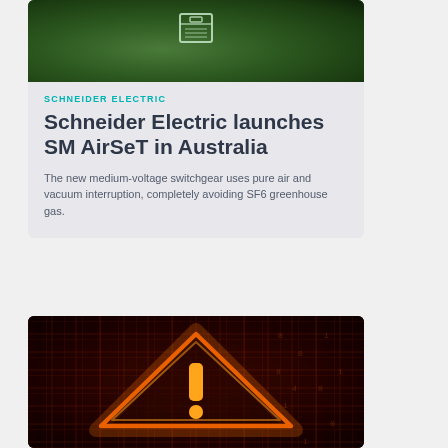[Figure (photo): Aerial view of green forest with a digital switchgear/electrical panel icon overlay in white outline]
SCHNEIDER ELECTRIC
Schneider Electric launches SM AirSeT in Australia
The new medium-voltage switchgear uses pure air and vacuum interruption, completely avoiding SF6 greenhouse gas.
[Figure (photo): Red digital grid background with glowing orange neon warning triangle (exclamation mark) - cybersecurity alert concept]